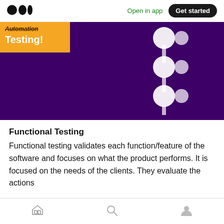Open in app  Get started
[Figure (illustration): Purple background hero image with an orange banner in top-left reading 'Automation Testing!' and a connected white circles/nodes graphic on the right side.]
Functional Testing
Functional testing validates each function/feature of the software and focuses on what the product performs. It is focused on the needs of the clients. They evaluate the actions
Home | Search | Profile